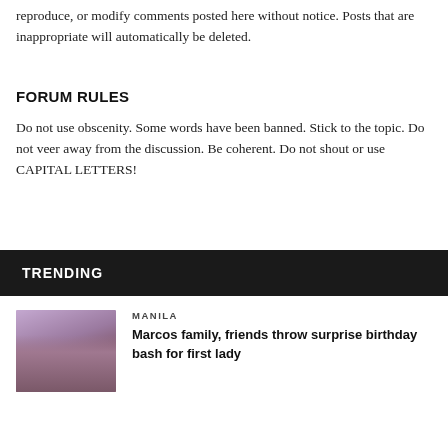reproduce, or modify comments posted here without notice. Posts that are inappropriate will automatically be deleted.
FORUM RULES
Do not use obscenity. Some words have been banned. Stick to the topic. Do not veer away from the discussion. Be coherent. Do not shout or use CAPITAL LETTERS!
TRENDING
MANILA
Marcos family, friends throw surprise birthday bash for first lady